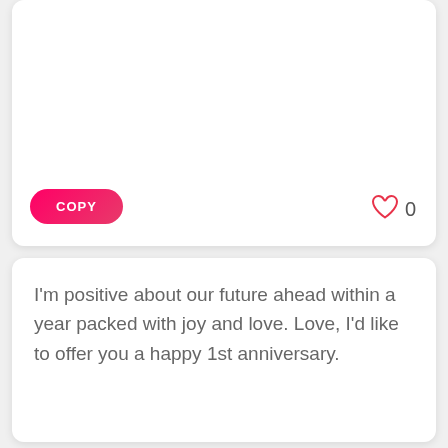[Figure (screenshot): Top card with COPY button and heart/like counter showing 0]
I'm positive about our future ahead within a year packed with joy and love. Love, I'd like to offer you a happy 1st anniversary.